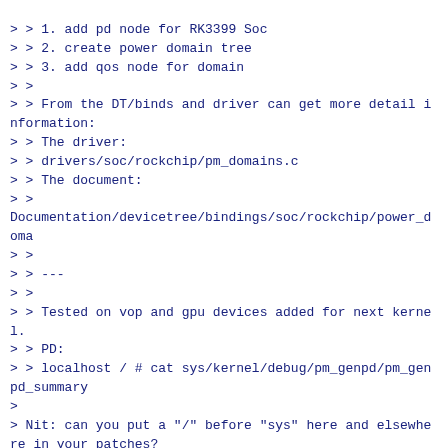> > 1. add pd node for RK3399 Soc
> > 2. create power domain tree
> > 3. add qos node for domain
> >
> > From the DT/binds and driver can get more detail information:
> > The driver:
> > drivers/soc/rockchip/pm_domains.c
> > The document:
> >
Documentation/devicetree/bindings/soc/rockchip/power_doma
> >
> > ---
> >
> > Tested on vop and gpu devices added for next kernel.
> > PD:
> > localhost / # cat sys/kernel/debug/pm_genpd/pm_genpd_summary
>
> Nit: can you put a "/" before "sys" here and elsewhere in your patches?
>
> > domain                          status slaves
> > /device                         runtime status
> > ----------------------------------------------------
------------------
> > pd_gpu                          on